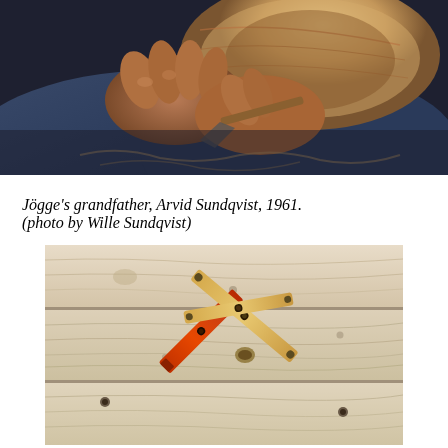[Figure (photo): Close-up photo of an elderly person's hands using a carving tool to hollow out a wooden bowl, wearing a dark blue jacket, wood shavings visible.]
Jögge's grandfather, Arvid Sundqvist, 1961. (photo by Wille Sundqvist)
[Figure (photo): Photo of two wooden tools crossed over each other on a light wood-plank surface. One tool is pale natural wood, the other is bright orange-red. They appear to be carving or woodworking implements joined at a pivot point.]